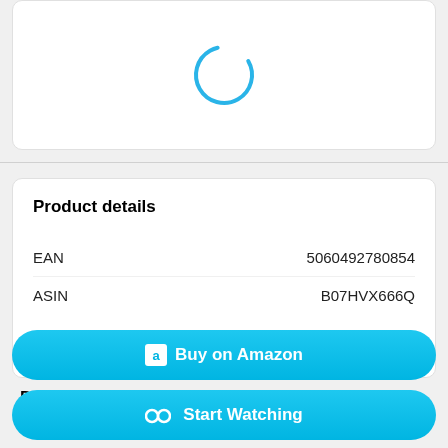[Figure (other): Loading spinner — a partial blue circle arc indicating content is loading]
Product details
|  |  |
| --- | --- |
| EAN | 5060492780854 |
| ASIN | B07HVX666Q |
Description
Buy on Amazon
Start Watching